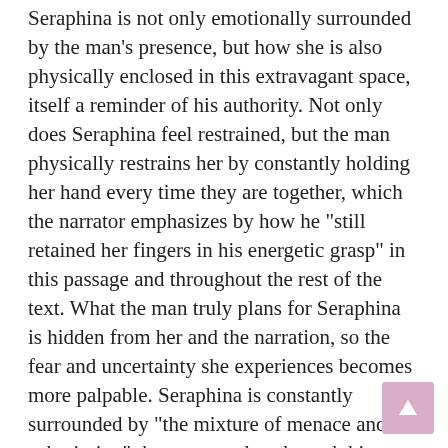Seraphina is not only emotionally surrounded by the man's presence, but how she is also physically enclosed in this extravagant space, itself a reminder of his authority. Not only does Seraphina feel restrained, but the man physically restrains her by constantly holding her hand every time they are together, which the narrator emphasizes by how he "still retained her fingers in his energetic grasp" in this passage and throughout the rest of the text. What the man truly plans for Seraphina is hidden from her and the narration, so the fear and uncertainty she experiences becomes more palpable. Seraphina is constantly surrounded by "the mixture of menace and submission" the man exudes, through his threats and his physical presence in the form of the perpetual handholding. The narration bolsters this fear by providing insight into her feelings and continuously contrasting the luxurious environment with the man's unsettling, constant presence that haunts Seraphina even when she is alone.